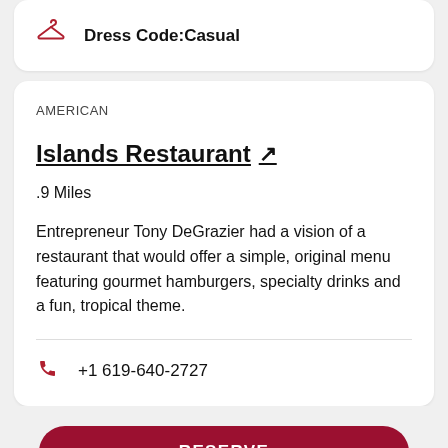Dress Code:Casual
AMERICAN
Islands Restaurant ↗
.9 Miles
Entrepreneur Tony DeGrazier had a vision of a restaurant that would offer a simple, original menu featuring gourmet hamburgers, specialty drinks and a fun, tropical theme.
+1 619-640-2727
RESERVE